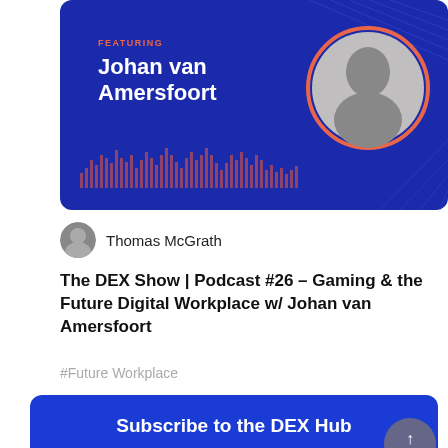[Figure (illustration): Podcast banner with dark blue background, featuring text 'FEATURING Johan van Amersfoort', circular profile photo of a man, and audio waveform graphic at bottom]
Thomas McGrath
The DEX Show | Podcast #26 – Gaming & the Future Digital Workplace w/ Johan van Amersfoort
#Future Workplace
Subscribe to the DEX Hub
Email Address